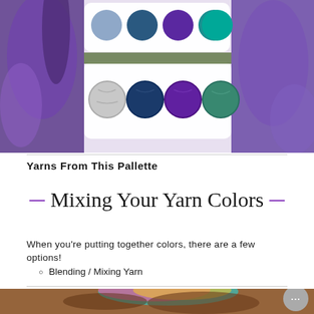[Figure (photo): Yarn color palette image showing two rows: top row has color swatches (blue-gray, dark teal, purple, teal, seafoam) and bottom row shows corresponding yarn balls in same colors, with purple yarn fiber in background]
Yarns From This Pallette
— Mixing Your Yarn Colors —
When you're putting together colors, there are a few options!
Blending / Mixing Yarn
[Figure (photo): Photo of colorful multicolored yarn (teal, pink, yellow) in a wooden yarn bowl on a wooden surface, with a chat widget overlay]